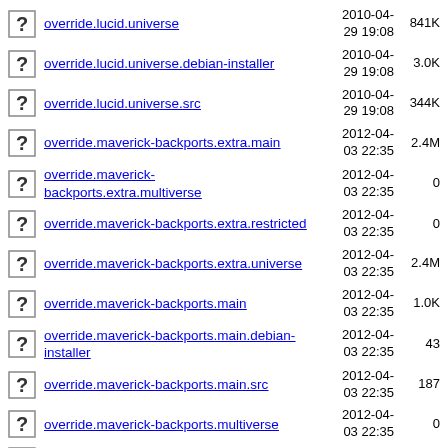override.lucid.universe  2010-04-29 19:08  841K
override.lucid.universe.debian-installer  2010-04-29 19:08  3.0K
override.lucid.universe.src  2010-04-29 19:08  344K
override.maverick-backports.extra.main  2012-04-03 22:35  2.4M
override.maverick-backports.extra.multiverse  2012-04-03 22:35  0
override.maverick-backports.extra.restricted  2012-04-03 22:35  0
override.maverick-backports.extra.universe  2012-04-03 22:35  2.4M
override.maverick-backports.main  2012-04-03 22:35  1.0K
override.maverick-backports.main.debian-installer  2012-04-03 22:35  43
override.maverick-backports.main.src  2012-04-03 22:35  187
override.maverick-backports.multiverse  2012-04-03 22:35  0
override.maverick-  2012-04-